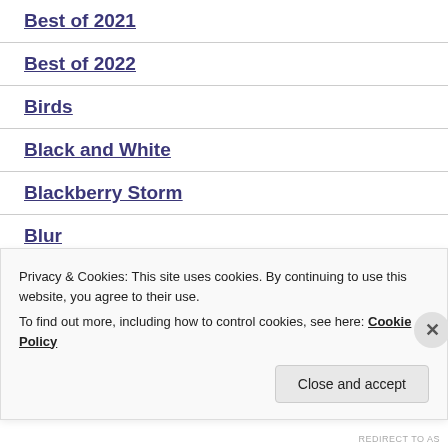Best of 2021
Best of 2022
Birds
Black and White
Blackberry Storm
Blur
Bokeh
Privacy & Cookies: This site uses cookies. By continuing to use this website, you agree to their use.
To find out more, including how to control cookies, see here: Cookie Policy
REDIRECT TO AS